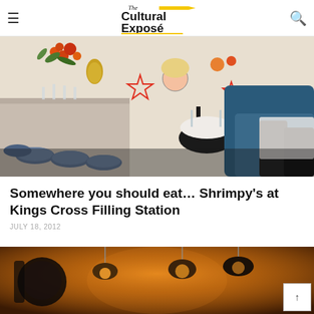The Cultural Exposé
[Figure (photo): Interior of Shrimpy's restaurant at Kings Cross Filling Station, showing a bar counter with blue stools on the left, set dining tables with white tablecloths, blue velvet booth seating, and whimsical cartoon-decorated walls.]
Somewhere you should eat... Shrimpy's at Kings Cross Filling Station
JULY 18, 2012
[Figure (photo): Interior of another restaurant/bar with warm orange lighting, hanging pendant lights, and dark ambiance.]